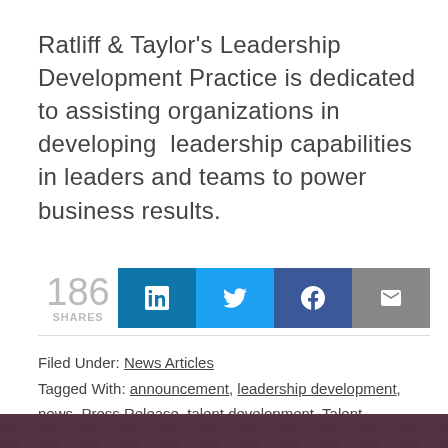Ratliff & Taylor's Leadership Development Practice is dedicated to assisting organizations in developing  leadership capabilities in leaders and teams to power business results.
[Figure (infographic): Social share bar showing 186 SHARES with buttons for LinkedIn, Twitter, Facebook, and Email]
Filed Under: News Articles
Tagged With: announcement, leadership development, news, Press Release, talent development, Talent Management
[Figure (photo): Dark purple/maroon brick texture footer image]